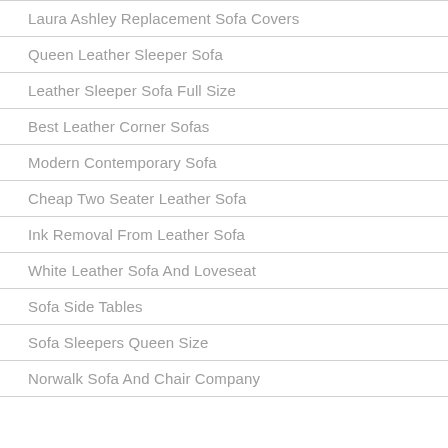Laura Ashley Replacement Sofa Covers
Queen Leather Sleeper Sofa
Leather Sleeper Sofa Full Size
Best Leather Corner Sofas
Modern Contemporary Sofa
Cheap Two Seater Leather Sofa
Ink Removal From Leather Sofa
White Leather Sofa And Loveseat
Sofa Side Tables
Sofa Sleepers Queen Size
Norwalk Sofa And Chair Company